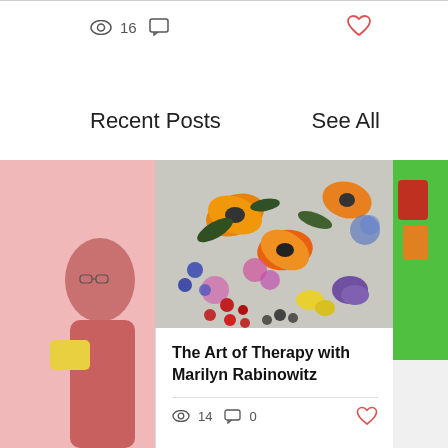16
Recent Posts
See All
[Figure (photo): Left partial card showing a person in a pink background holding something yellow]
[Figure (photo): Colorful floral painting with orange, pink, purple and yellow flowers on a grey background]
The Art of Therapy with Marilyn Rabinowitz
14
0
[Figure (photo): Right partial card showing colorful items on green background]